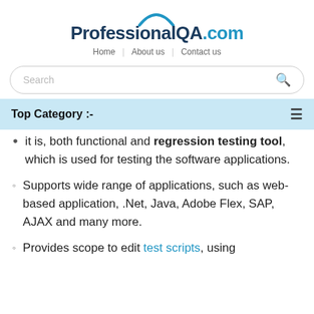ProfessionalQA.com — Home | About us | Contact us
[Figure (screenshot): Search bar with rounded corners and magnifying glass icon]
Top Category :-
it is, both functional and regression testing tool, which is used for testing the software applications.
Supports wide range of applications, such as web-based application, .Net, Java, Adobe Flex, SAP, AJAX and many more.
Provides scope to edit test scripts, using